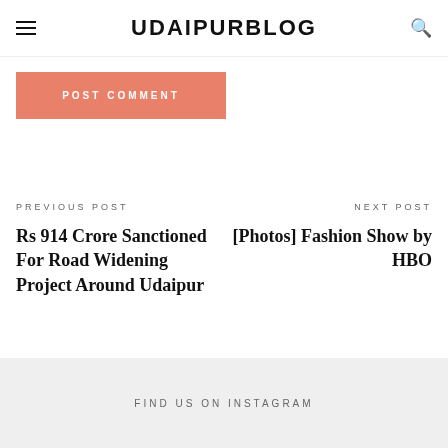UDAIPURBLOG
POST COMMENT
PREVIOUS POST
Rs 914 Crore Sanctioned For Road Widening Project Around Udaipur
NEXT POST
[Photos] Fashion Show by HBO
FIND US ON INSTAGRAM